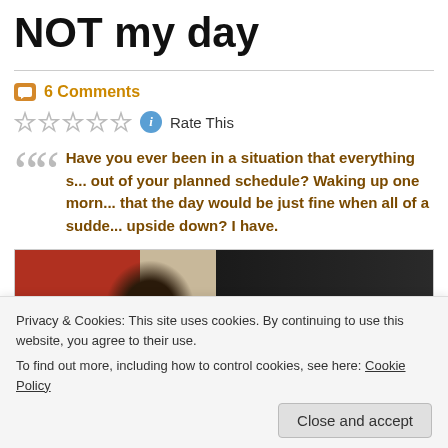NOT my day
6 Comments
Rate This
Have you ever been in a situation that everything s... out of your planned schedule? Waking up one morn... that the day would be just fine when all of a sudde... upside down? I have.
[Figure (photo): Partial photo of a person with dark hair, with a red background visible]
Privacy & Cookies: This site uses cookies. By continuing to use this website, you agree to their use.
To find out more, including how to control cookies, see here: Cookie Policy
Close and accept